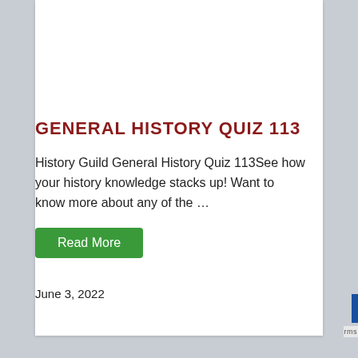GENERAL HISTORY QUIZ 113
History Guild General History Quiz 113See how your history knowledge stacks up! Want to know more about any of the …
Read More
June 3, 2022